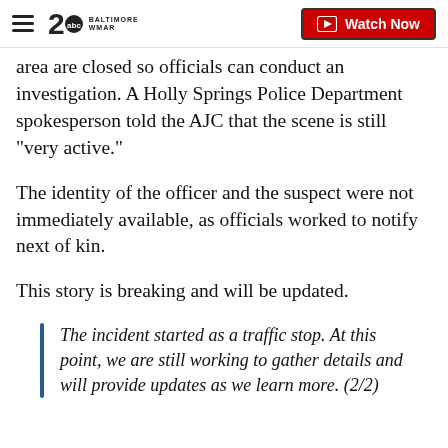WMAR 2 Baltimore — Watch Now
area are closed so officials can conduct an investigation. A Holly Springs Police Department spokesperson told the AJC that the scene is still "very active."
The identity of the officer and the suspect were not immediately available, as officials worked to notify next of kin.
This story is breaking and will be updated.
The incident started as a traffic stop. At this point, we are still working to gather details and will provide updates as we learn more. (2/2)